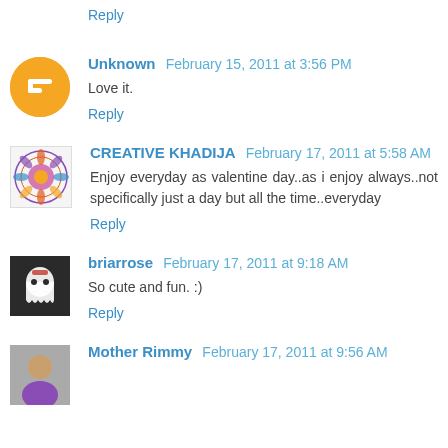Reply
Unknown  February 15, 2011 at 3:56 PM
Love it.
Reply
CREATIVE KHADIJA  February 17, 2011 at 5:58 AM
Enjoy everyday as valentine day..as i enjoy always..not specifically just a day but all the time..everyday
Reply
briarrose  February 17, 2011 at 9:18 AM
So cute and fun. :)
Reply
Mother Rimmy  February 17, 2011 at 9:56 AM